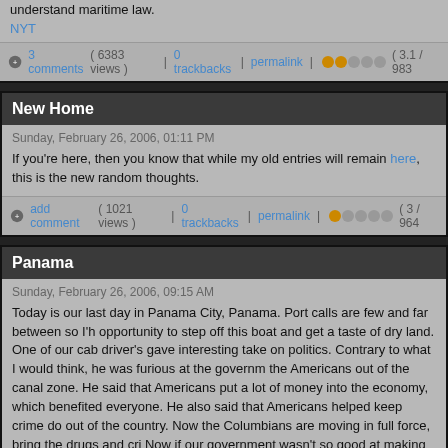understand maritime law.
NYT
3 comments ( 6383 views ) | 0 trackbacks | permalink | ●●○○○ ( 3.1 / 983
New Home
Sunday, February 26, 2006, 01:11 PM
If you're here, then you know that while my old entries will remain here, this is the new random thoughts.
add comment ( 1021 views ) | 0 trackbacks | permalink | ○○○○○ ( 3 / 964
Panama
Sunday, February 26, 2006, 09:15 AM
Today is our last day in Panama City, Panama. Port calls are few and far between so I'h opportunity to step off this boat and get a taste of dry land. One of our cab driver's gave interesting take on politics. Contrary to what I would think, he was furious at the governm the Americans out of the canal zone. He said that Americans put a lot of money into the economy, which benefited everyone. He also said that Americans helped keep crime do out of the country. Now the Columbians are moving in full force, bring the drugs and cri Now if our government wasn't so good at making the rest of the world hate Americans, able to do some good.
add comment ( 1082 views ) | 0 trackbacks | permalink | ○○○○○ ( 2.9 / 20